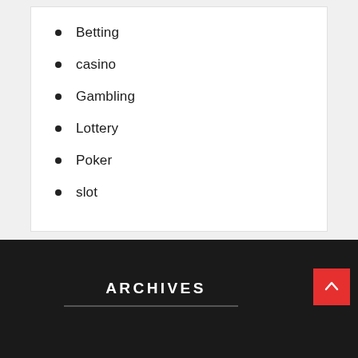Betting
casino
Gambling
Lottery
Poker
slot
ARCHIVES